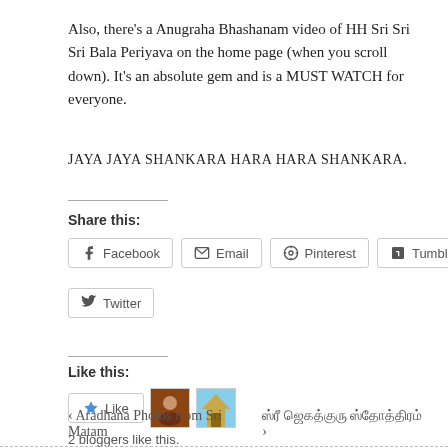Also, there's a Anugraha Bhashanam video of HH Sri Sri Sri Bala Periyava on the home page (when you scroll down). It's an absolute gem and is a MUST WATCH for everyone.
JAYA JAYA SHANKARA HARA HARA SHANKARA.
Share this:
Facebook  Email  Pinterest  Tumblr  Twitter
Like this:
Like  2 bloggers like this.
‹ Aradhana Photos from Sri Matam
ஸ்ரீ ஜெகத்குரு ஸ்தோத்திரம் ›